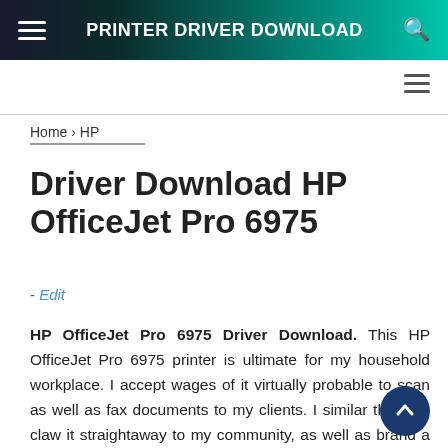PRINTER DRIVER DOWNLOAD
Home › HP
Driver Download HP OfficeJet Pro 6975
- Edit
HP OfficeJet Pro 6975 Driver Download. This HP OfficeJet Pro 6975 printer is ultimate for my household workplace. I accept wages of it virtually probable to scan as well as fax documents to my clients. I similar that i tin claw it straightaway to my community, as well as brand a duplicate from anywhere i am yesteryear way of my iPhone. The printer…